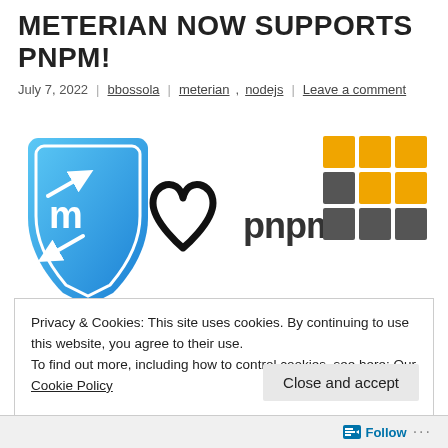METERIAN NOW SUPPORTS PNPM!
July 7, 2022 | bbossola | meterian, nodejs | Leave a comment
[Figure (illustration): Meterian logo (blue shield with arrows and letter m) plus a heart symbol plus pnpm text logo with colorful grid tiles (orange and grey squares)]
Privacy & Cookies: This site uses cookies. By continuing to use this website, you agree to their use.
To find out more, including how to control cookies, see here: Our Cookie Policy
Close and accept
Follow ...